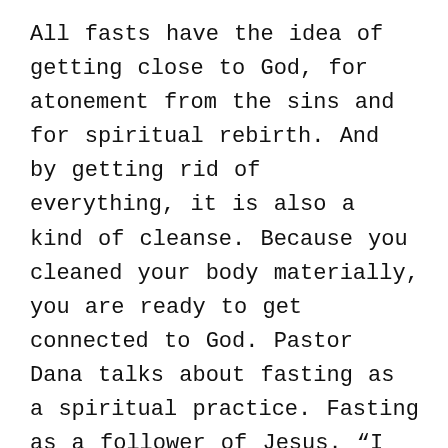All fasts have the idea of getting close to God, for atonement from the sins and for spiritual rebirth. And by getting rid of everything, it is also a kind of cleanse. Because you cleaned your body materially, you are ready to get connected to God. Pastor Dana talks about fasting as a spiritual practice. Fasting as a follower of Jesus. “I fast during an important decision to make. I fast generally once a week throughout the year. From one dinner last night to the next. Fasting for me is going without food.” Jesus practiced it for 40 days out in the